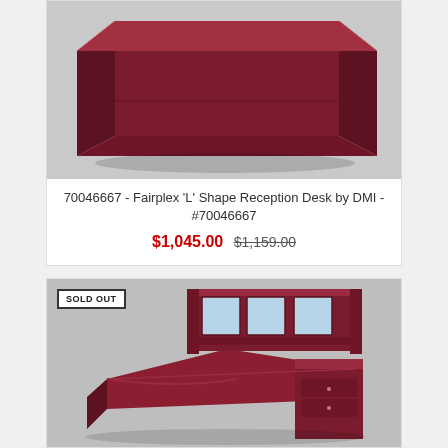[Figure (photo): Dark mahogany L-shape reception desk product photo on gray background]
70046667 - Fairplex 'L' Shape Reception Desk by DMI - #70046667
$1,045.00 $1,159.00
[Figure (photo): Dark mahogany L-shape desk with hutch featuring frosted glass panels, product photo on gray background, marked SOLD OUT]